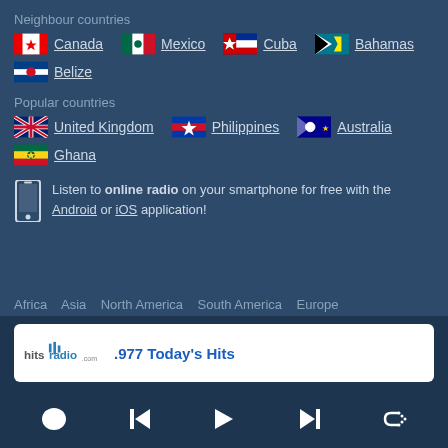Neighbour countries
Canada
Mexico
Cuba
Bahamas
Belize
Popular countries
United Kingdom
Philippines
Australia
Ghana
Listen to online radio on your smartphone for free with the Android or iOS application!
Africa   Asia   North America   South America   Europe
.977 Today's Hits